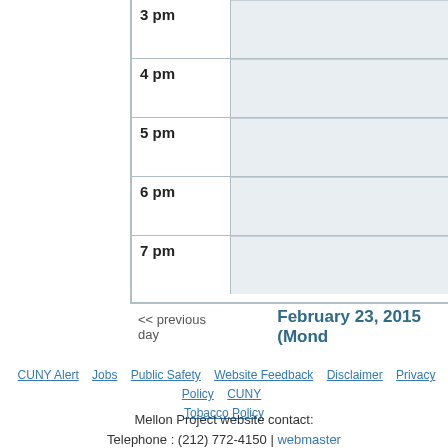| Time | Events |
| --- | --- |
| 3 pm |  |
| 4 pm |  |
| 5 pm |  |
| 6 pm |  |
| 7 pm |  |
<< previous day   February 23, 2015 (Mond
CUNY Alert | Jobs | Public Safety | Website Feedback | Disclaimer | Privacy Policy | CUNY | Tobacco Policy
Mellon Project website contact:
Telephone : (212) 772-4150 | webmaster